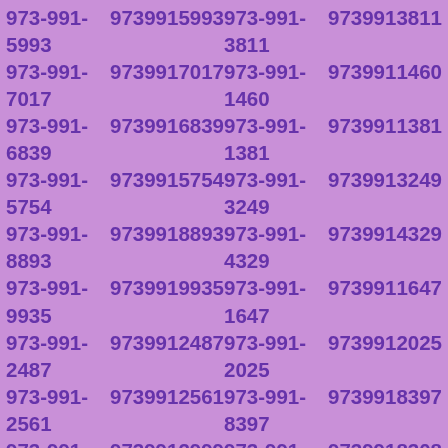973-991-5993 9739915993 973-991-3811 9739913811
973-991-7017 9739917017 973-991-1460 9739911460
973-991-6839 9739916839 973-991-1381 9739911381
973-991-5754 9739915754 973-991-3249 9739913249
973-991-8893 9739918893 973-991-4329 9739914329
973-991-9935 9739919935 973-991-1647 9739911647
973-991-2487 9739912487 973-991-2025 9739912025
973-991-2561 9739912561 973-991-8397 9739918397
973-991-2999 9739912999 973-991-8308 9739918308
973-991-6805 9739916805 973-991-7543 9739917543
973-991-3337 9739913337 973-991-6040 9739916040
973-991-7283 9739917283 973-991-5405 9739915405
973-991-7132 9739917132 973-991-5749 9739915749
973-991-0778 9739910778 973-991-6320 9739916320
973-991-7019 9739917019 973-991-4431 9739914431
973-991-8345 9739918345 973-991-4139 9739914139
973-991-2810 9739912810 973-991-8498 9739918498
973-991-3911 9739913911 973-991-6496 9739916496
973-991-4092 9739914092 973-991-7356 9739917356
973-991-8668 9739918668 973-991-3978 9739913978
973-991-9991 9739919991 973-991-6498 9739916498